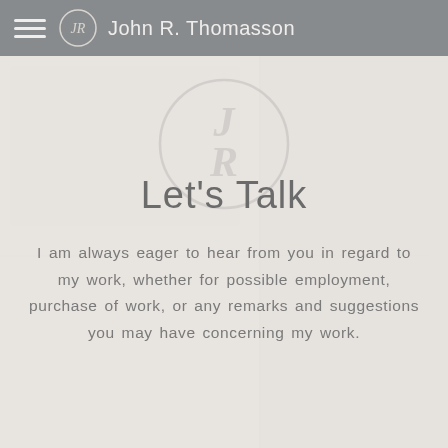John R. Thomasson
Let's Talk
I am always eager to hear from you in regard to my work, whether for possible employment, purchase of work, or any remarks and suggestions you may have concerning my work.